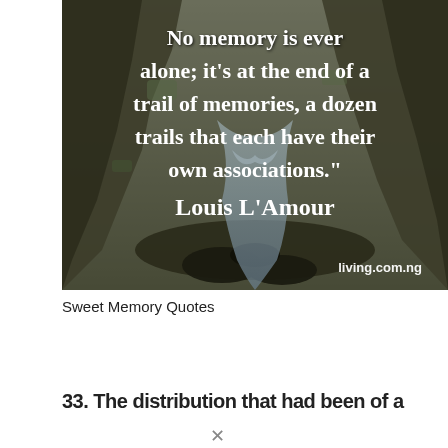[Figure (photo): A scenic canyon with rocky walls, moss-covered stones, and a stream running through it. Overlaid white serif text reads a Louis L'Amour quote about memory, and a watermark 'living.com.ng' in the bottom right.]
Sweet Memory Quotes
33. The distribution had been of a...